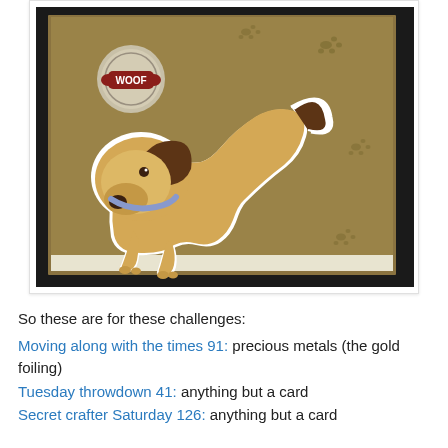[Figure (photo): A handmade craft card featuring a cute cartoon dachshund puppy on a gold/tan background with paw print embossing. The dog has a white outline, brown spots, a blue collar, and a round tag with 'WOOF' text in the upper left corner. The card sits on a dark background.]
So these are for these challenges:
Moving along with the times 91: precious metals (the gold foiling)
Tuesday throwdown 41: anything but a card
Secret crafter Saturday 126: anything but a card